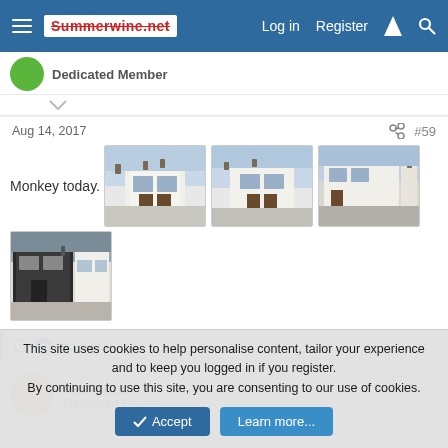Summerwine.net — Log in | Register
Dedicated Member
Aug 14, 2017   #59
Monkey today.
[Figure (photo): Four photos of a white pub/building exterior]
maltrab
Marianna
Dedicated Member
This site uses cookies to help personalise content, tailor your experience and to keep you logged in if you register.
By continuing to use this site, you are consenting to our use of cookies.